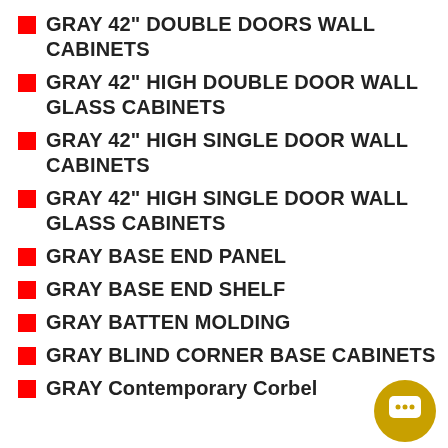GRAY 42" DOUBLE DOORS WALL CABINETS
GRAY 42" HIGH DOUBLE DOOR WALL GLASS CABINETS
GRAY 42" HIGH SINGLE DOOR WALL CABINETS
GRAY 42" HIGH SINGLE DOOR WALL GLASS CABINETS
GRAY BASE END PANEL
GRAY BASE END SHELF
GRAY BATTEN MOLDING
GRAY BLIND CORNER BASE CABINETS
GRAY Contemporary Corbel